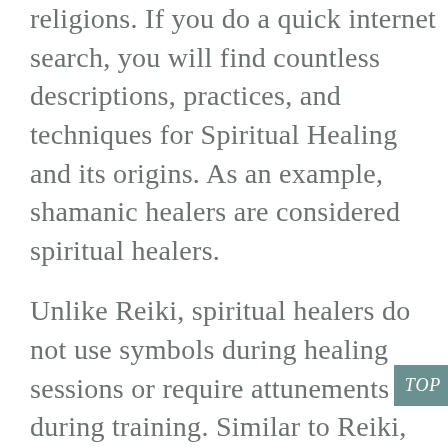religions. If you do a quick internet search, you will find countless descriptions, practices, and techniques for Spiritual Healing and its origins. As an example, shamanic healers are considered spiritual healers.
Unlike Reiki, spiritual healers do not use symbols during healing sessions or require attunements during training. Similar to Reiki, spiritual healing is spiritually guided Life-Force Energy, and there are many branches and avenues to practice and